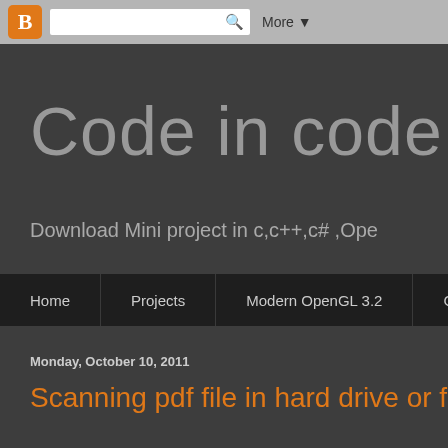Blogger toolbar with search and More button
Code in code::
Download Mini project in c,c++,c# ,Ope
Home | Projects | Modern OpenGL 3.2 | GLFW
Monday, October 10, 2011
Scanning pdf file in hard drive or fol